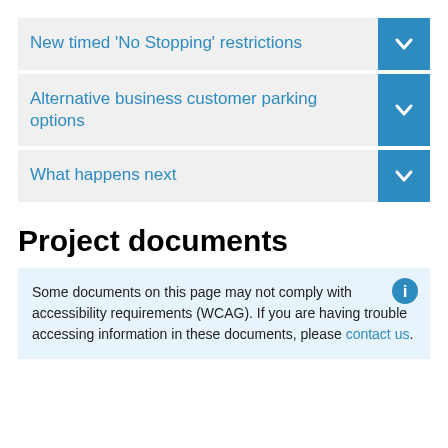New timed ‘No Stopping’ restrictions
Alternative business customer parking options
What happens next
Project documents
Some documents on this page may not comply with accessibility requirements (WCAG). If you are having trouble accessing information in these documents, please contact us.